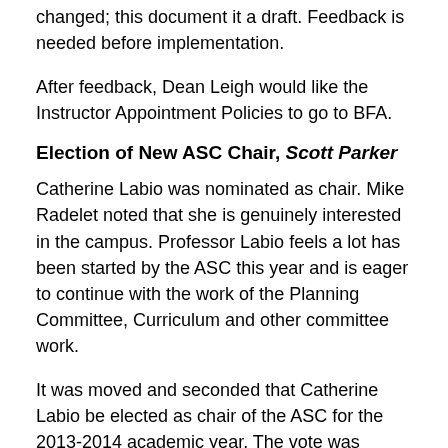changed; this document it a draft. Feedback is needed before implementation.
After feedback, Dean Leigh would like the Instructor Appointment Policies to go to BFA.
Election of New ASC Chair, Scott Parker
Catherine Labio was nominated as chair. Mike Radelet noted that she is genuinely interested in the campus. Professor Labio feels a lot has been started by the ASC this year and is eager to continue with the work of the Planning Committee, Curriculum and other committee work.
It was moved and seconded that Catherine Labio be elected as chair of the ASC for the 2013-2014 academic year. The vote was unanimously in favor.
The meeting was adjourned at 4:57PM.